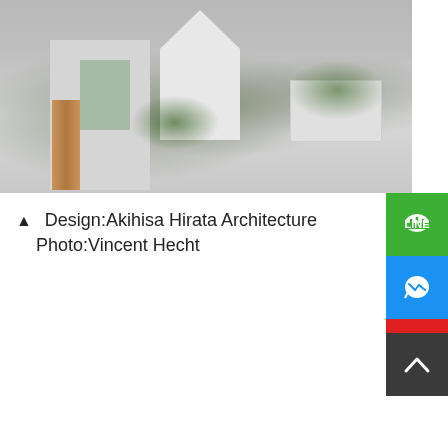[Figure (photo): Exterior photograph of a modern concrete residential building by Akihisa Hirata Architecture, showing angular white and grey concrete forms with green plants on terraces and balconies, street-level view.]
▲ Design:Akihisa Hirata Architecture Photo:Vincent Hecht
[Figure (photo): Close-up exterior photograph of the same concrete building showing stepped angular concrete slabs, terraces with plants, and geometric architectural forms.]